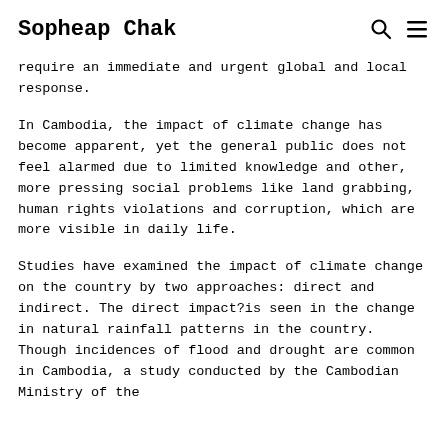Sopheap Chak
require an immediate and urgent global and local response.
In Cambodia, the impact of climate change has become apparent, yet the general public does not feel alarmed due to limited knowledge and other, more pressing social problems like land grabbing, human rights violations and corruption, which are more visible in daily life.
Studies have examined the impact of climate change on the country by two approaches: direct and indirect. The direct impact?is seen in the change in natural rainfall patterns in the country. Though incidences of flood and drought are common in Cambodia, a study conducted by the Cambodian Ministry of the